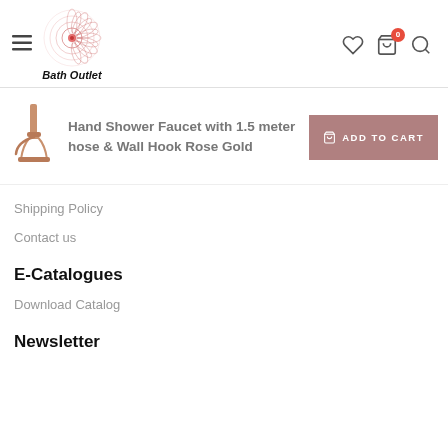Bath Outlet — header navigation with logo, hamburger menu, wishlist, cart (0), and search icons
Hand Shower Faucet with 1.5 meter hose & Wall Hook Rose Gold
ADD TO CART
Shipping Policy
Contact us
E-Catalogues
Download Catalog
Newsletter